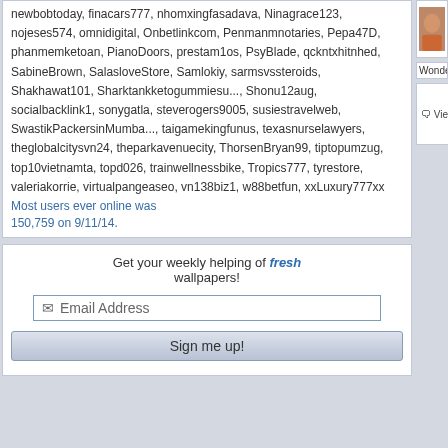newbobtoday, finacars777, nhomxingfasadava, Ninagrace123, nojeses574, omnidigital, Onbetlinkcom, Penmanmnotaries, Pepa47D, phanmemketoan, PianoDoors, prestam1os, PsyBlade, qckntxhitnhed, SabineBrown, SalasloveStore, Samlokiy, sarmsvssteroids, Shakhawat101, Sharktankketogummiesu..., Shonu12aug, socialbacklink1, sonygatla, steverogers9005, susiestravelweb, SwastikPackersinMumba..., taigamekingfunus, texasnurselawyers, theglobalcitysvn24, theparkavenuecity, ThorsenBryan99, tiptopumzug, top10vietnamta, topd026, trainwellnessbike, Tropics777, tyrestore, valeriakorrie, virtualpangeaseo, vn138biz1, w88betfun, xxLuxury777xx
Most users ever online was 150,759 on 9/11/14.
Get your weekly helping of fresh wallpapers!
Email Address
Sign me up!
[Figure (photo): Small thumbnail photo of a person, partially visible on the right side]
Wonder if she's looking for me? 😊
View All Co...